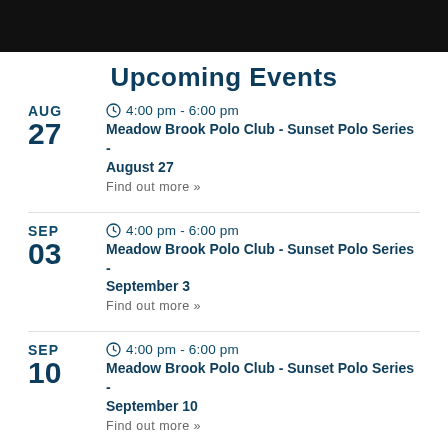Upcoming Events
AUG 27 | 4:00 pm - 6:00 pm | Meadow Brook Polo Club - Sunset Polo Series - August 27 | Find out more »
SEP 03 | 4:00 pm - 6:00 pm | Meadow Brook Polo Club - Sunset Polo Series - September 3 | Find out more »
SEP 10 | 4:00 pm - 6:00 pm | Meadow Brook Polo Club - Sunset Polo Series - September 10 | Find out more »